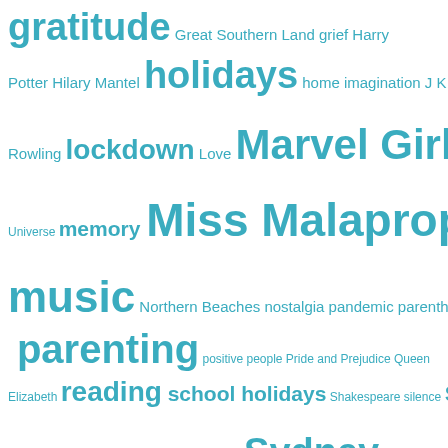[Figure (infographic): Word cloud / tag cloud with words in various sizes rendered in teal/cyan color on white background. Larger words appear more frequently. Words include: gratitude, Great Southern Land, grief, Harry Potter, Hilary Mantel, holidays, home, imagination, J K Rowling, lockdown, Love, Marvel Girl, Marvel Universe, memory, Miss Malaprop, movies, music, Northern Beaches, nostalgia, pandemic, parenthood, parenting, positive, people, Pride and Prejudice, Queen Elizabeth, reading, school holidays, Shakespeare, silence, spring, Star Wars, summer, Sunshine, Sydney, Tauriel, television, The Bloke, Thrifty Fictionista, time, Tom Hiddleston, Top Five, travel, Trent Dalton, Ursula Le Guin, Virginia Woolf, winter, Wolf Hall, word of the month, words, writing, yoga]